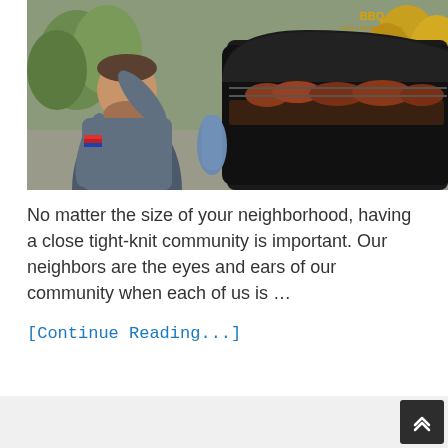[Figure (photo): A bearded man in a grey t-shirt standing beside a large black BBQ smoker grill with meat cooking inside, outdoor parking lot setting with cars and trees in the background.]
No matter the size of your neighborhood, having a close tight-knit community is important. Our neighbors are the eyes and ears of our community when each of us is …
[Continue Reading...]